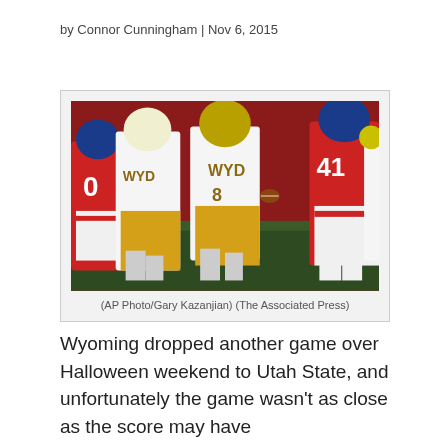by Connor Cunningham | Nov 6, 2015
[Figure (photo): A Wyoming Cowboys football player running with the ball while being tackled by Arizona Wildcats defenders during a game. Players wearing white/gold WYO uniforms and red/white Arizona uniforms, number 41 visible on Arizona player.]
(AP Photo/Gary Kazanjian) (The Associated Press)
Wyoming dropped another game over Halloween weekend to Utah State, and unfortunately the game wasn't as close as the score may have